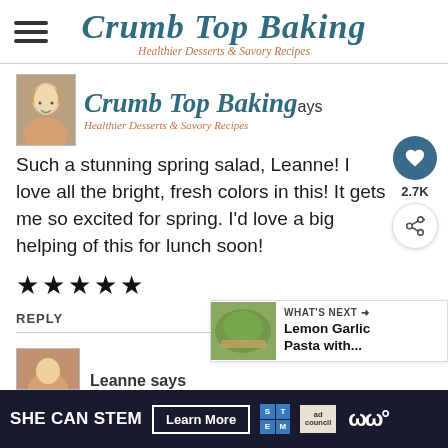Crumb Top Baking — Healthier Desserts & Savory Recipes
[Figure (photo): Profile avatar photo of a smiling woman]
Crumb Top Baking ays
Healthier Desserts & Savory Recipes
Such a stunning spring salad, Leanne! I love all the bright, fresh colors in this! It gets me so excited for spring. I'd love a big helping of this for lunch soon!
★★★★★
REPLY
[Figure (photo): What's Next promotional image: Lemon Garlic Pasta with...]
WHAT'S NEXT → Lemon Garlic Pasta with...
[Figure (photo): Second commenter avatar partially visible at bottom]
SHE CAN STEM  Learn More  STEM  ad council